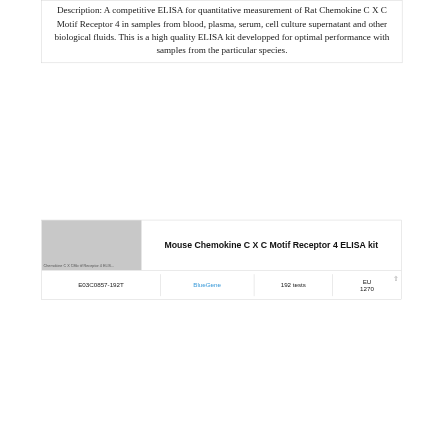Description: A competitive ELISA for quantitative measurement of Rat Chemokine C X C Motif Receptor 4 in samples from blood, plasma, serum, cell culture supernatant and other biological fluids. This is a high quality ELISA kit developped for optimal performance with samples from the particular species.
[Figure (photo): Product image placeholder for Chemokine C X C Motif Receptor 4 ELISA kit, shown as a gray rectangle with small text label]
Mouse Chemokine C X C Motif Receptor 4 ELISA kit
|  | Brand | Qty | Price |
| --- | --- | --- | --- |
| E03C0857-192T | BlueGene | 192 tests | EU 1270 |